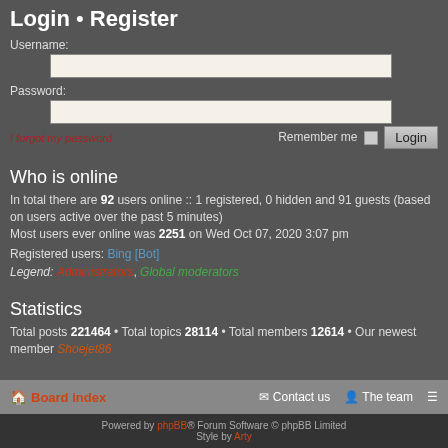Login • Register
Username:
Password:
I forgot my password    Remember me  Login
Who is online
In total there are 92 users online :: 1 registered, 0 hidden and 91 guests (based on users active over the past 5 minutes)
Most users ever online was 2251 on Wed Oct 07, 2020 3:07 pm
Registered users: Bing [Bot]
Legend: Administrators, Global moderators
Statistics
Total posts 221464 • Total topics 28114 • Total members 12614 • Our newest member Shoejet86
Board index  Contact us  The team
Powered by phpBB® Forum Software © phpBB Limited Style by Arty